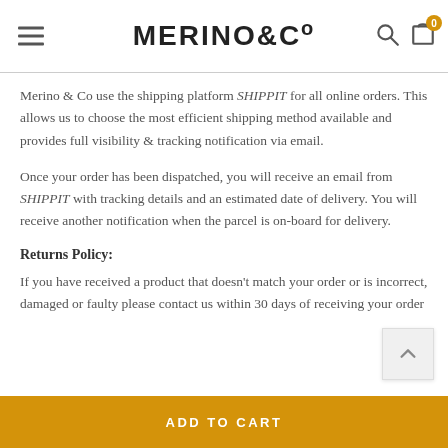MERINO&Co
Merino & Co use the shipping platform SHIPPIT for all online orders. This allows us to choose the most efficient shipping method available and provides full visibility & tracking notification via email.
Once your order has been dispatched, you will receive an email from SHIPPIT with tracking details and an estimated date of delivery. You will receive another notification when the parcel is on-board for delivery.
Returns Policy:
If you have received a product that doesn't match your order or is incorrect, damaged or faulty please contact us within 30 days of receiving your order